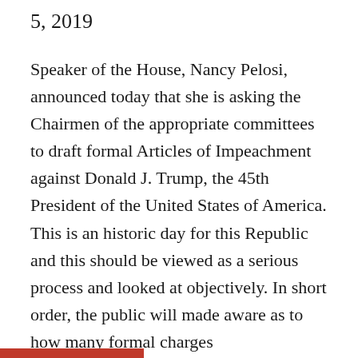5, 2019
Speaker of the House, Nancy Pelosi, announced today that she is asking the Chairmen of the appropriate committees to draft formal Articles of Impeachment against Donald J. Trump, the 45th President of the United States of America. This is an historic day for this Republic and this should be viewed as a serious process and looked at objectively. In short order, the public will made aware as to how many formal charges